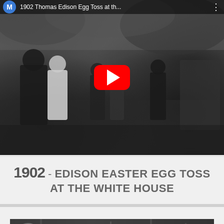[Figure (screenshot): YouTube video thumbnail showing a black and white historical photograph of a crowd of people at an outdoor event. A red YouTube play button is overlaid in the center. A top bar shows an avatar with letter M and the partial title '1902 Thomas Edison Egg Toss at th...' with a three-dot menu icon.]
1902 - EDISON EASTER EGG TOSS AT THE WHITE HOUSE
[Figure (screenshot): YouTube video thumbnail showing a black and white historical photograph of a Washington DC streetcar. A circular thumbnail image and the partial title 'Washington DC Streetcar Mail Deliv...' with a three-dot menu icon.]